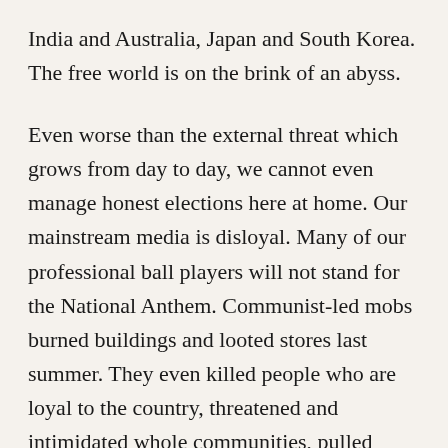India and Australia, Japan and South Korea. The free world is on the brink of an abyss.
Even worse than the external threat which grows from day to day, we cannot even manage honest elections here at home. Our mainstream media is disloyal. Many of our professional ball players will not stand for the National Anthem. Communist-led mobs burned buildings and looted stores last summer. They even killed people who are loyal to the country, threatened and intimidated whole communities, pulled down statues of George Washington, Jefferson and Grant. They led a campaign to defund the police in Los Angeles,